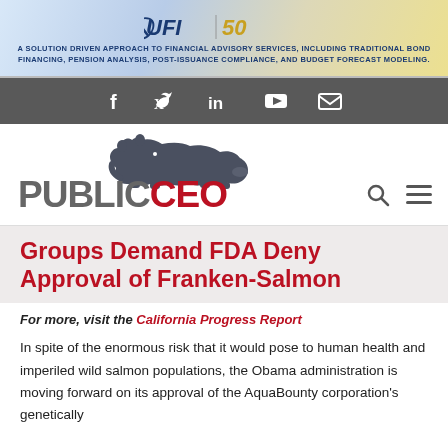[Figure (logo): UFI50 financial advisory services banner advertisement with logo and tagline]
[Figure (infographic): Social media icon bar with Facebook, Twitter, LinkedIn, YouTube, and email icons on dark grey background]
[Figure (logo): PublicCEO logo with bear silhouette, search and menu icons]
Groups Demand FDA Deny Approval of Franken-Salmon
For more, visit the California Progress Report
In spite of the enormous risk that it would pose to human health and imperiled wild salmon populations, the Obama administration is moving forward on its approval of the AquaBounty corporation's genetically